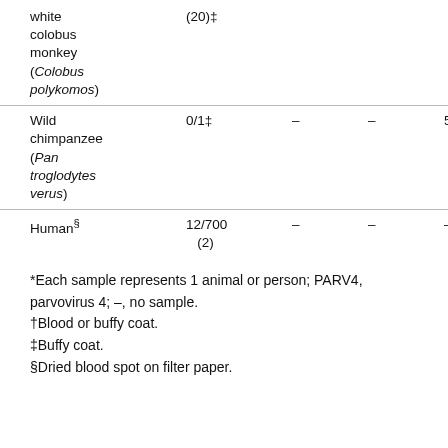| Species | Col2 | Col3 | Col4 | Col5 |
| --- | --- | --- | --- | --- |
| white colobus monkey (Colobus polykomos) | (20)‡ |  |  |  |
| Wild chimpanzee (Pan troglodytes verus) | 0/1‡ | – | – | 5/13 (38) |
| Human§ | 12/700 (2) | – | – | – |
*Each sample represents 1 animal or person; PARV4, parvovirus 4; –, no sample.
†Blood or buffy coat.
‡Buffy coat.
§Dried blood spot on filter paper.